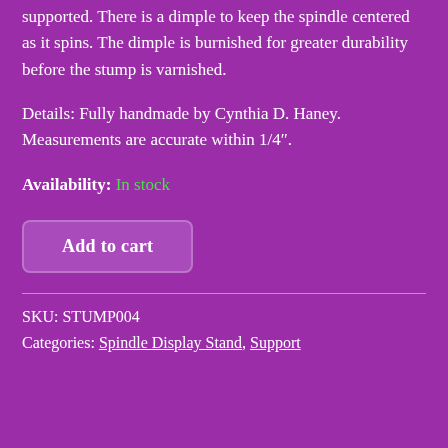supported. There is a dimple to keep the spindle centered as it spins. The dimple is burnished for greater durability before the stump is varnished.
Details: Fully handmade by Cynthia D. Haney. Measurements are accurate within 1/4″.
Availability: In stock
Add to cart
SKU: STUMP004
Categories: Spindle Display Stand, Support